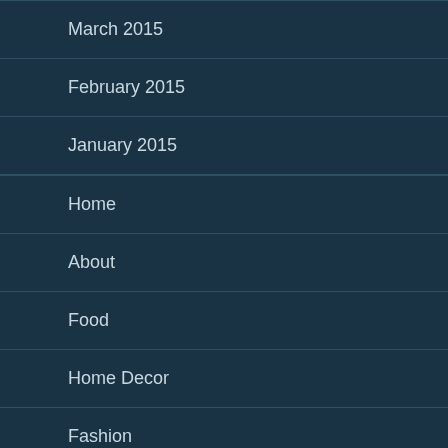March 2015
February 2015
January 2015
Home
About
Food
Home Decor
Fashion